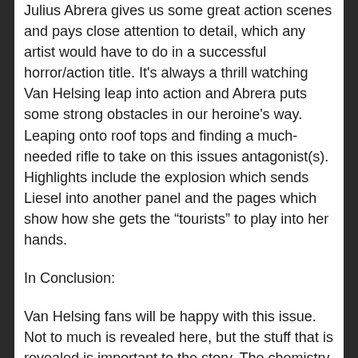Julius Abrera gives us some great action scenes and pays close attention to detail, which any artist would have to do in a successful horror/action title. It's always a thrill watching Van Helsing leap into action and Abrera puts some strong obstacles in our heroine's way. Leaping onto roof tops and finding a much-needed rifle to take on this issues antagonist(s). Highlights include the explosion which sends Liesel into another panel and the pages which show how she gets the “tourists” to play into her hands.
In Conclusion:
Van Helsing fans will be happy with this issue. Not to much is revealed here, but the stuff that is revealed is important to the story. The chemistry between Van Helsing and agent Dara is the real strength of this issue even as Liesel can't deal with Dara's attempts at forcing a friendship. They need each other even if Van Helsing doesn't like to admit it. The set up for the next issue leaves us wanting more. ***1/2 (8.8 rating)
Van Helsing ‘Sword of Heaven’ #3